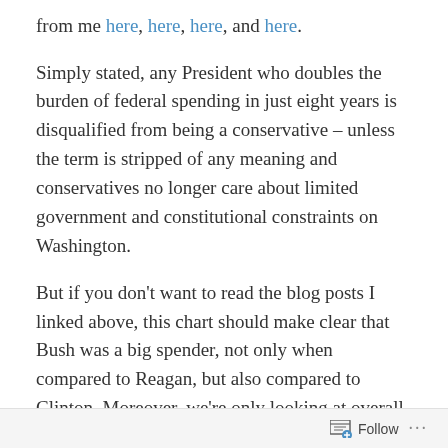from me here, here, here, and here.
Simply stated, any President who doubles the burden of federal spending in just eight years is disqualified from being a conservative – unless the term is stripped of any meaning and conservatives no longer care about limited government and constitutional constraints on Washington.
But if you don't want to read the blog posts I linked above, this chart should make clear that Bush was a big spender, not only when compared to Reagan, but also compared to Clinton. Moreover, we're only looking at overall domestic spending, so this doesn't include Iraq, Afghanistan, and other defense expenditures. And these are inflation-adjusted dollars, so we're comparing apples to apples.
Follow